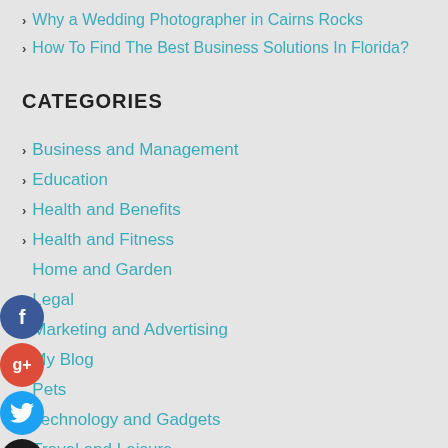Why a Wedding Photographer in Cairns Rocks
How To Find The Best Business Solutions In Florida?
CATEGORIES
Business and Management
Education
Health and Benefits
Health and Fitness
Home and Garden
Legal
Marketing and Advertising
My Blog
Pets
Technology and Gadgets
Travel and Leisure
ARCHIVES